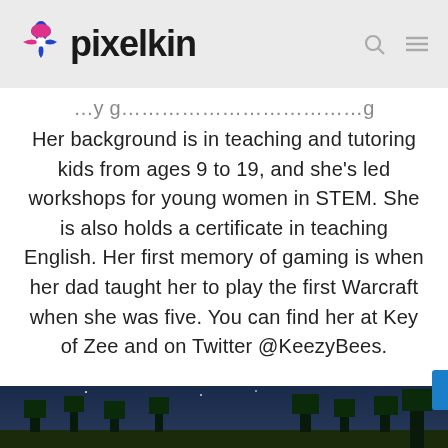pixelkin
Her background is in teaching and tutoring kids from ages 9 to 19, and she's led workshops for young women in STEM. She is also holds a certificate in teaching English. Her first memory of gaming is when her dad taught her to play the first Warcraft when she was five. You can find her at Key of Zee and on Twitter @KeezyBees.
[Figure (photo): Minecraft scene with trees and landscape at dusk/night]